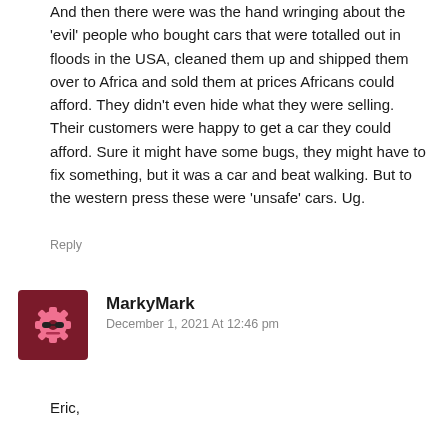And then there were was the hand wringing about the ‘evil’ people who bought cars that were totalled out in floods in the USA, cleaned them up and shipped them over to Africa and sold them at prices Africans could afford. They didn’t even hide what they were selling. Their customers were happy to get a car they could afford. Sure it might have some bugs, they might have to fix something, but it was a car and beat walking. But to the western press these were ‘unsafe’ cars. Ug.
Reply
[Figure (illustration): Pink gear/cog with sunglasses avatar icon on dark red background]
MarkyMark
December 1, 2021 At 12:46 pm
Eric,